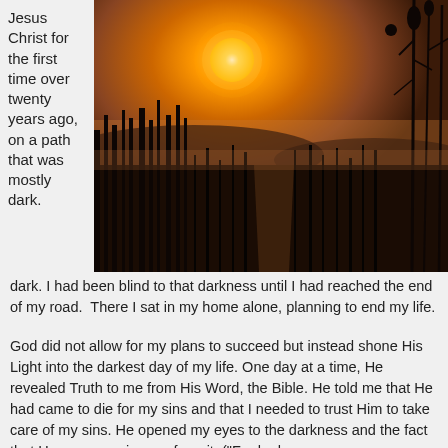Jesus Christ for the first time over twenty years ago, on a path that was mostly dark.
[Figure (photo): Sunset or sunrise over a misty field path with tall grasses and wildflowers silhouetted in the foreground, warm orange glow in the sky]
dark. I had been blind to that darkness until I had reached the end of my road.  There I sat in my home alone, planning to end my life.
God did not allow for my plans to succeed but instead shone His Light into the darkest day of my life. One day at a time, He revealed Truth to me from His Word, the Bible. He told me that He had came to die for my sins and that I needed to trust Him to take care of my sins. He opened my eyes to the darkness and the fact that He was rescuing me from it. ("For he has